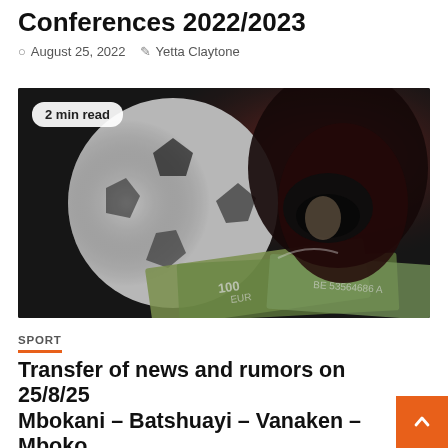Conferences 2022/2023
August 25, 2022   Yetta Claytone
[Figure (photo): A soccer ball and a motorcycle helmet placed on top of Euro and Dollar banknotes, with red lighting. Badge overlay reads '2 min read'.]
SPORT
Transfer of news and rumors on 25/8/25 Mbokani – Batshuayi – Vanaken – Mboko Melek – Engels – Konate – Seolmans